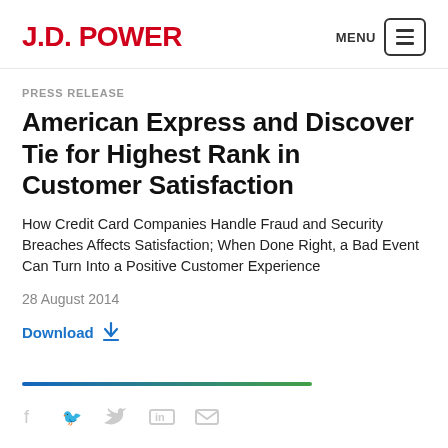J.D. POWER
PRESS RELEASE
American Express and Discover Tie for Highest Rank in Customer Satisfaction
How Credit Card Companies Handle Fraud and Security Breaches Affects Satisfaction; When Done Right, a Bad Event Can Turn Into a Positive Customer Experience
28 August 2014
Download